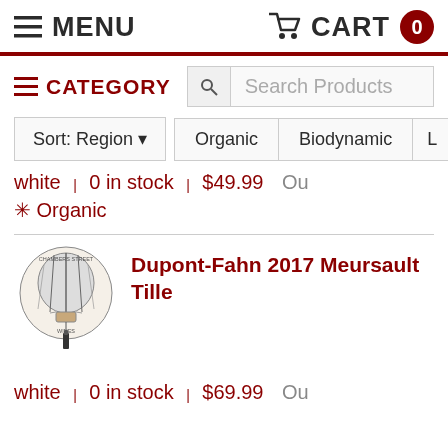MENU   CART 0
CATEGORY   Search Products
Sort: Region ▾   Organic   Biodynamic   L
white | 0 in stock | $49.99   Ou
✳ Organic
Dupont-Fahn 2017 Meursault Tille...
white | 0 in stock | $69.99   Ou